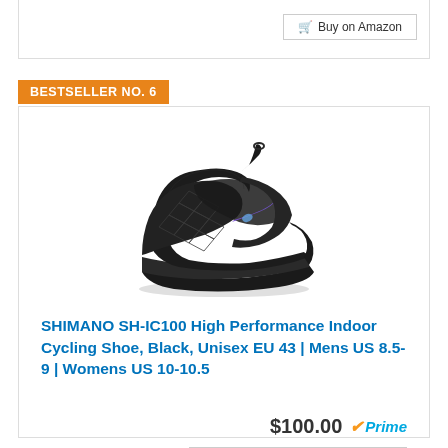[Figure (photo): Black Shimano SH-IC100 indoor cycling shoe with blue/purple accent stripe, shown from the side on white background]
BESTSELLER NO. 6
SHIMANO SH-IC100 High Performance Indoor Cycling Shoe, Black, Unisex EU 43 | Mens US 8.5-9 | Womens US 10-10.5
$100.00 Prime
Buy on Amazon
Buy on Amazon